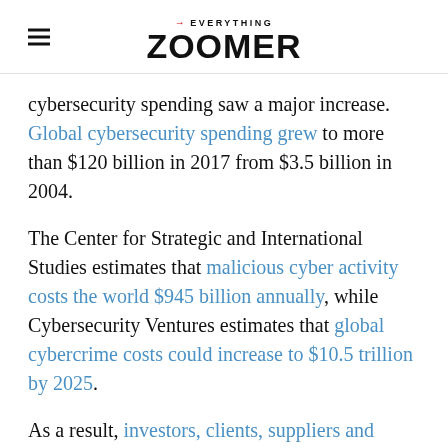→EVERYTHING ZOOMER
cybersecurity spending saw a major increase. Global cybersecurity spending grew to more than $120 billion in 2017 from $3.5 billion in 2004.
The Center for Strategic and International Studies estimates that malicious cyber activity costs the world $945 billion annually, while Cybersecurity Ventures estimates that global cybercrime costs could increase to $10.5 trillion by 2025.
As a result, investors, clients, suppliers and